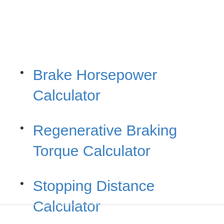Brake Horsepower Calculator
Regenerative Braking Torque Calculator
Stopping Distance Calculator